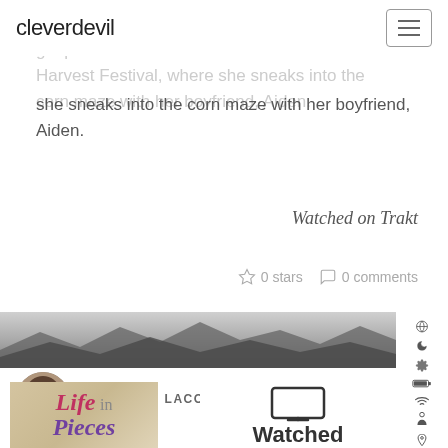cleverdevil
Greg debate who to name as Lark's godparent and John takes Samantha to the Harvest Festival, where she sneaks into the corn maze with her boyfriend, Aiden.
Watched on Trakt
0 stars  0 comments
[Figure (photo): Landscape mountain/desert photo strip in grayscale]
[Figure (photo): Author avatar photo of Jonathan Lacour]
JONATHAN LACOUR
NOVEMBER 2, 2021
[Figure (illustration): Book cover for Life in Pieces]
[Figure (illustration): TV monitor icon above the word Watched]